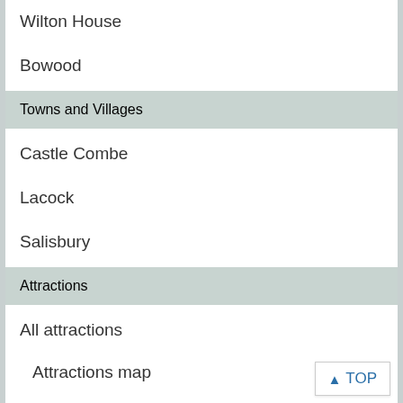Wilton House
Bowood
Towns and Villages
Castle Combe
Lacock
Salisbury
Attractions
All attractions
Attractions map
Ancient Sites
Castles
Churches